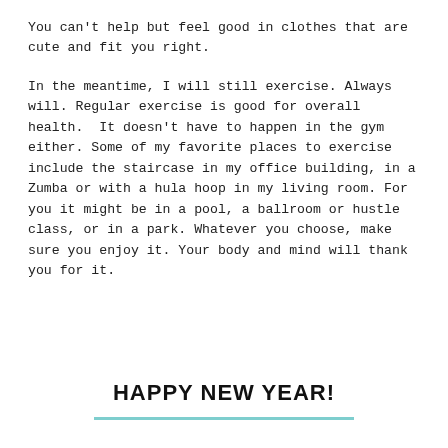You can't help but feel good in clothes that are cute and fit you right.
In the meantime, I will still exercise. Always will. Regular exercise is good for overall health.  It doesn't have to happen in the gym either. Some of my favorite places to exercise include the staircase in my office building, in a Zumba or with a hula hoop in my living room. For you it might be in a pool, a ballroom or hustle class, or in a park. Whatever you choose, make sure you enjoy it. Your body and mind will thank you for it.
HAPPY NEW YEAR!